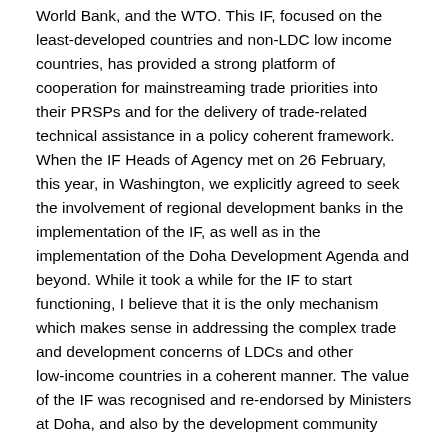World Bank, and the WTO. This IF, focused on the least-developed countries and non-LDC low income countries, has provided a strong platform of cooperation for mainstreaming trade priorities into their PRSPs and for the delivery of trade-related technical assistance in a policy coherent framework. When the IF Heads of Agency met on 26 February, this year, in Washington, we explicitly agreed to seek the involvement of regional development banks in the implementation of the IF, as well as in the implementation of the Doha Development Agenda and beyond. While it took a while for the IF to start functioning, I believe that it is the only mechanism which makes sense in addressing the complex trade and development concerns of LDCs and other low-income countries in a coherent manner. The value of the IF was recognised and re-endorsed by Ministers at Doha, and also by the development community